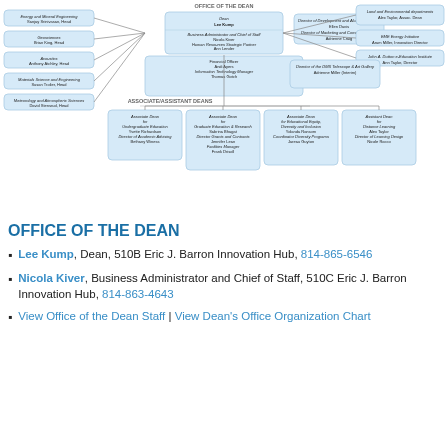[Figure (organizational-chart): Office of the Dean organizational chart showing Dean Lee Kump, Business Administrator Nicola Kiver, various directors and associate/assistant deans, left side departments including Energy and Mineral Engineering, Geosciences, Acoustics, Materials Science and Engineering, Meteorology and Atmospheric Sciences, and right side offices including Land and Environmental departments, EME Energy Initiative, John A. Dutton e-Education Institute. Bottom row shows Associate/Assistant Deans for Undergraduate Education, Graduate Education & Research, Educational Equity/Diversity/Inclusion, and Distance Learning.]
OFFICE OF THE DEAN
Lee Kump, Dean, 510B Eric J. Barron Innovation Hub, 814-865-6546
Nicola Kiver, Business Administrator and Chief of Staff, 510C Eric J. Barron Innovation Hub, 814-863-4643
View Office of the Dean Staff | View Dean's Office Organization Chart